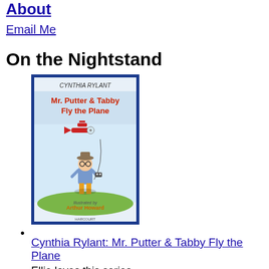About
Email Me
On the Nightstand
[Figure (illustration): Book cover of 'Mr. Putter & Tabby Fly the Plane' by Cynthia Rylant, illustrated by Arthur Howard. Shows an old man with glasses holding a remote control while a red biplane flies above with a cat in it.]
Cynthia Rylant: Mr. Putter & Tabby Fly the Plane
Ellie loves this series.